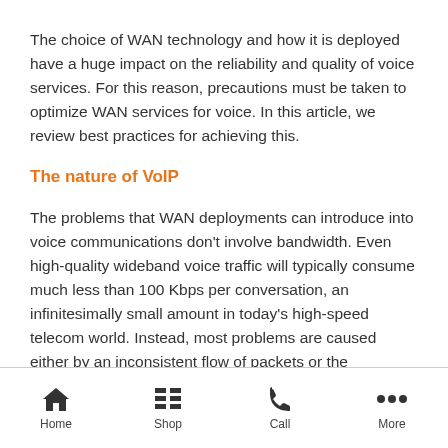The choice of WAN technology and how it is deployed have a huge impact on the reliability and quality of voice services. For this reason, precautions must be taken to optimize WAN services for voice. In this article, we review best practices for achieving this.
The nature of VoIP
The problems that WAN deployments can introduce into voice communications don't involve bandwidth. Even high-quality wideband voice traffic will typically consume much less than 100 Kbps per conversation, an infinitesimally small amount in today's high-speed telecom world. Instead, most problems are caused either by an inconsistent flow of packets or the
Home  Shop  Call  More